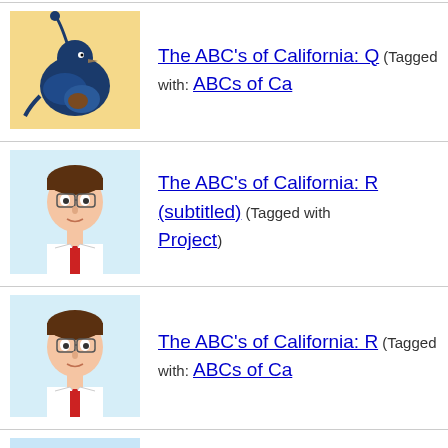The ABC's of California: Q (Tagged with: ABCs of Ca...
The ABC's of California: R (subtitled) (Tagged with: ... Project)
The ABC's of California: R (Tagged with: ABCs of Ca...
The ABC's of California: S (subtitled) (Tagged with: ... Project)
The ABC's of California: S (partial, cut off)